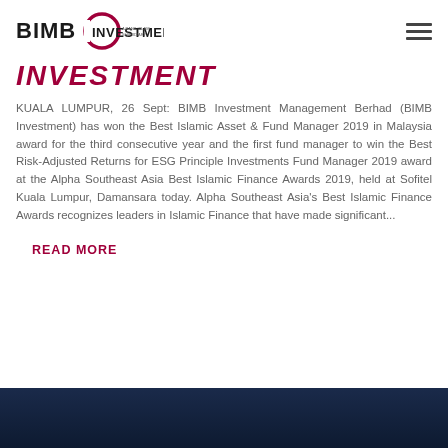BIMB INVESTMENT (A BANK ISLAM SUBSIDIARY)
INVESTMENT
KUALA LUMPUR, 26 Sept: BIMB Investment Management Berhad (BIMB Investment) has won the Best Islamic Asset & Fund Manager 2019 in Malaysia award for the third consecutive year and the first fund manager to win the Best Risk-Adjusted Returns for ESG Principle Investments Fund Manager 2019 award at the Alpha Southeast Asia Best Islamic Finance Awards 2019, held at Sofitel Kuala Lumpur, Damansara today. Alpha Southeast Asia's Best Islamic Finance Awards recognizes leaders in Islamic Finance that have made significant...
READ MORE
[Figure (photo): Dark blue/navy background image at the bottom of the page, partially visible]